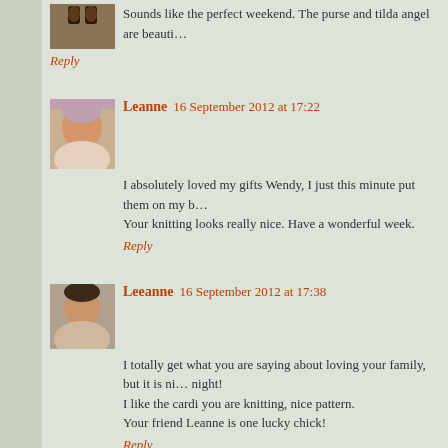Sounds like the perfect weekend. The purse and tilda angel are beauti…
Reply
Leanne  16 September 2012 at 17:22
I absolutely loved my gifts Wendy, I just this minute put them on my b… Your knitting looks really nice. Have a wonderful week.
Reply
Leeanne  16 September 2012 at 17:38
I totally get what you are saying about loving your family, but it is ni… night!
I like the cardi you are knitting, nice pattern.
Your friend Leanne is one lucky chick!
Reply
Susan  16 September 2012 at 17:51
It is lovely to have the house to yourself for the night every now an… cute.